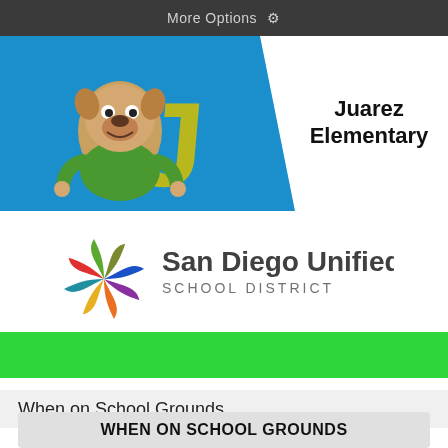More Options ⚙
Juarez Elementary
[Figure (logo): San Diego Unified School District logo with colorful star/snowflake emblem and text]
When on School Grounds
WHEN ON SCHOOL GROUNDS